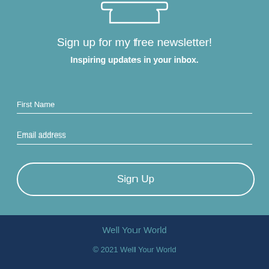[Figure (illustration): White outline of a pot or cooking vessel shape at the top of the teal section]
Sign up for my free newsletter!
Inspiring updates in your inbox.
First Name
Email address
Sign Up
Well Your World
© 2021 Well Your World